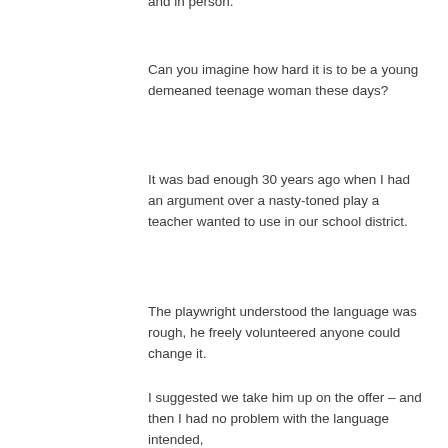and in person.
Can you imagine how hard it is to be a young demeaned teenage woman these days?
It was bad enough 30 years ago when I had an argument over a nasty-toned play a teacher wanted to use in our school district.
The playwright understood the language was rough, he freely volunteered anyone could change it.
I suggested we take him up on the offer – and then I had no problem with the language intended,